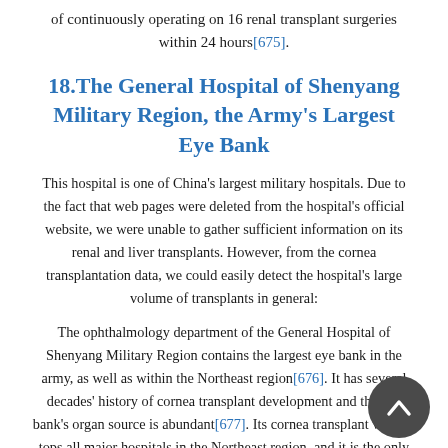of continuously operating on 16 renal transplant surgeries within 24 hours[675].
18.The General Hospital of Shenyang Military Region, the Army's Largest Eye Bank
This hospital is one of China's largest military hospitals. Due to the fact that web pages were deleted from the hospital's official website, we were unable to gather sufficient information on its renal and liver transplants. However, from the cornea transplantation data, we could easily detect the hospital's large volume of transplants in general:
The ophthalmology department of the General Hospital of Shenyang Military Region contains the largest eye bank in the army, as well as within the Northeast region[676]. It has several decades' history of cornea transplant development and the eye bank's organ source is abundant[677]. Its cornea transplant volume tops all major hospitals in the Northeast region, and it is the only hospital in the Shenyang region that can provide